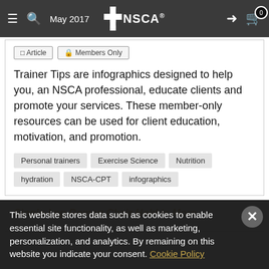NSCA | May 2017
Article | Members Only
Trainer Tips are infographics designed to help you, an NSCA professional, educate clients and promote your services. These member-only resources can be used for client education, motivation, and promotion.
Personal trainers
Exercise Science
Nutrition
hydration
NSCA-CPT
infographics
Single-Leg Roman Chair Hold is More
This website stores data such as cookies to enable essential site functionality, as well as marketing, personalization, and analytics. By remaining on this website you indicate your consent. Cookie Policy